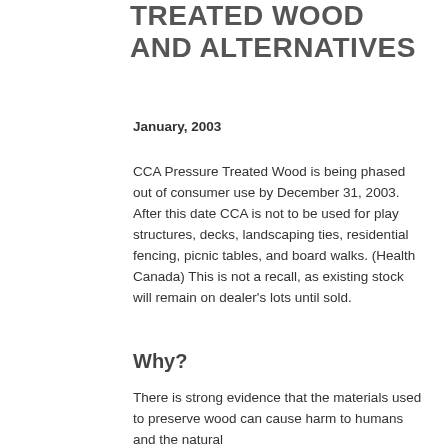TREATED WOOD AND ALTERNATIVES
January, 2003
CCA Pressure Treated Wood is being phased out of consumer use by December 31, 2003. After this date CCA is not to be used for play structures, decks, landscaping ties, residential fencing, picnic tables, and board walks. (Health Canada) This is not a recall, as existing stock will remain on dealer's lots until sold.
Why?
There is strong evidence that the materials used to preserve wood can cause harm to humans and the natural